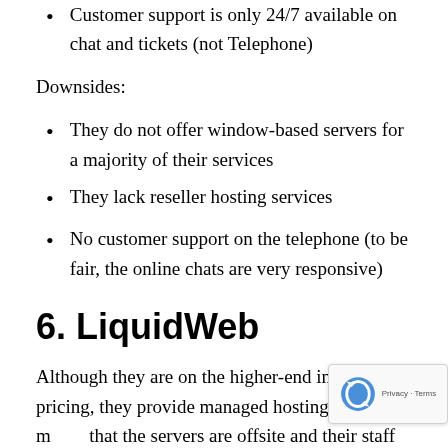Customer support is only 24/7 available on chat and tickets (not Telephone)
Downsides:
They do not offer window-based servers for a majority of their services
They lack reseller hosting services
No customer support on the telephone (to be fair, the online chats are very responsive)
6. LiquidWeb
Although they are on the higher-end in terms of pricing, they provide managed hosting. This means that the servers are offsite and their staff handle a couple of maintenance and support tasks for you to